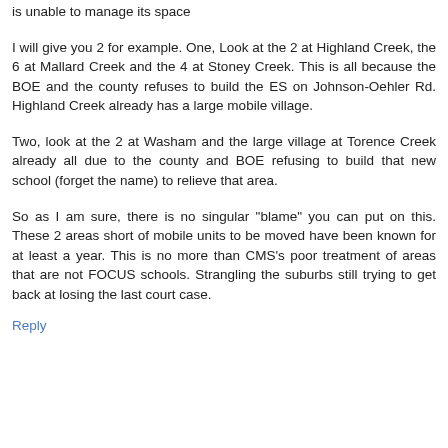is unable to manage its space
I will give you 2 for example. One, Look at the 2 at Highland Creek, the 6 at Mallard Creek and the 4 at Stoney Creek. This is all because the BOE and the county refuses to build the ES on Johnson-Oehler Rd. Highland Creek already has a large mobile village.
Two, look at the 2 at Washam and the large village at Torence Creek already all due to the county and BOE refusing to build that new school (forget the name) to relieve that area.
So as I am sure, there is no singular "blame" you can put on this. These 2 areas short of mobile units to be moved have been known for at least a year. This is no more than CMS's poor treatment of areas that are not FOCUS schools. Strangling the suburbs still trying to get back at losing the last court case.
Reply